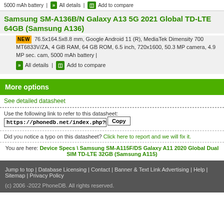5000 mAh battery | All details | Add to compare
Samsung SM-A136B/N Galaxy A13 5G 2021 Global TD-LTE 64GB (Samsung A136)
NEW 76.5x164.5x8.8 mm, Google Android 11 (R), MediaTek Dimensity 700 MT6833V/ZA, 4 GiB RAM, 64 GB ROM, 6.5 inch, 720x1600, 50.3 MP camera, 4.9 MP sec. cam, 5000 mAh battery | All details | Add to compare
More options
See detailed datasheet
Use the following link to refer to this datasheet:
https://phonedb.net/index.php?m=device&
Did you notice a typo on this datasheet? Click here to report and we will fix it.
You are here: Device Specs \ Samsung SM-A115F/DS Galaxy A11 2020 Global Dual SIM TD-LTE 32GB (Samsung A115)
Jump to top | Database Licensing | Contact | Banner & Text Link Advertising | Help | Sitemap | Privacy Policy
(c) 2006 -2022 PhoneDB. All rights reserved.